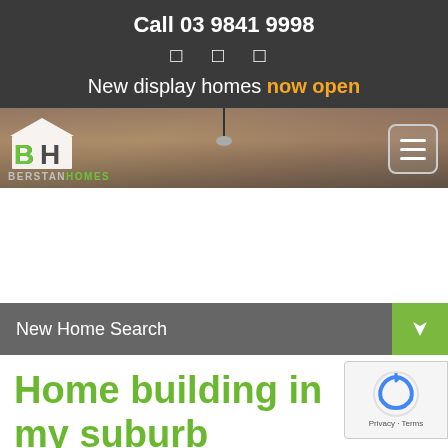Call 03 9841 9998
New display homes now open
[Figure (logo): Berstan Homes logo with BH initials in green and white on dark background]
New Home Search
Home building in my suburb